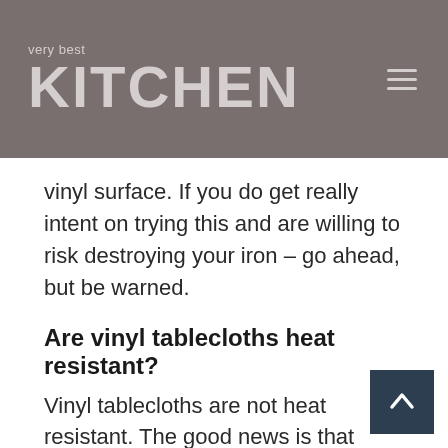very best KITCHEN
vinyl surface. If you do get really intent on trying this and are willing to risk destroying your iron – go ahead, but be warned.
Are vinyl tablecloths heat resistant?
Vinyl tablecloths are not heat resistant. The good news is that cloth tablecloths, such as a cotton or polyester fabric, can withstand high temperatures and steam from hot dishes. This helps stop the spread of germs at the dining table and increases durability as well. As vinyl doesn't have these properties, in general they